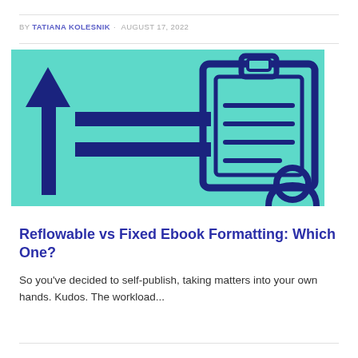BY TATIANA KOLESNIK · AUGUST 17, 2022
[Figure (illustration): Teal/aqua background illustration showing a large upward arrow on the left, two horizontal bar lines pointing right, and a clipboard icon on the right with a person silhouette at the bottom-right corner. All elements in dark navy/indigo on teal background.]
Reflowable vs Fixed Ebook Formatting: Which One?
So you've decided to self-publish, taking matters into your own hands. Kudos. The workload...